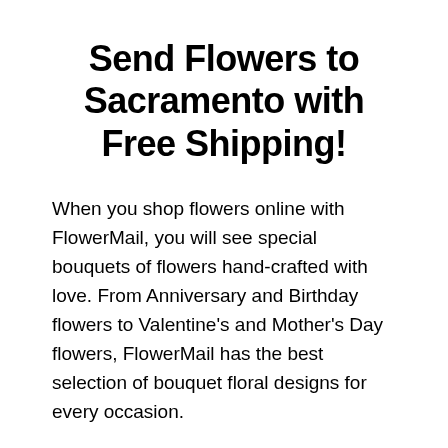Send Flowers to Sacramento with Free Shipping!
When you shop flowers online with FlowerMail, you will see special bouquets of flowers hand-crafted with love. From Anniversary and Birthday flowers to Valentine's and Mother's Day flowers, FlowerMail has the best selection of bouquet floral designs for every occasion.
FlowerMail delivers and offers